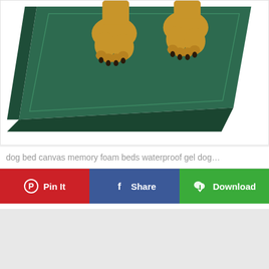[Figure (photo): A dog lying on a dark green square memory foam dog bed. The dog's front paws and legs are visible resting on the green canvas-covered foam mat, which is photographed from above at an angle showing the thick padded edges.]
dog bed canvas memory foam beds waterproof gel dog…
[Figure (infographic): Three action buttons in a row: red 'Pin It' button with Pinterest logo, blue 'Share' button with Facebook logo, and green 'Download' button with download icon.]
[Figure (other): Light gray placeholder rectangle at the bottom of the page.]